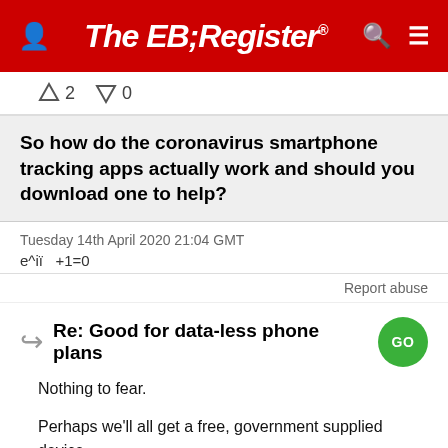The Register
↑2  ↓0
So how do the coronavirus smartphone tracking apps actually work and should you download one to help?
Tuesday 14th April 2020 21:04 GMT
e^iï  +1=0
Report abuse
Re: Good for data-less phone plans
Nothing to fear.
Perhaps we'll all get a free, government supplied device.
You may carry it with you.
Should you choose not to, you will be arrested when